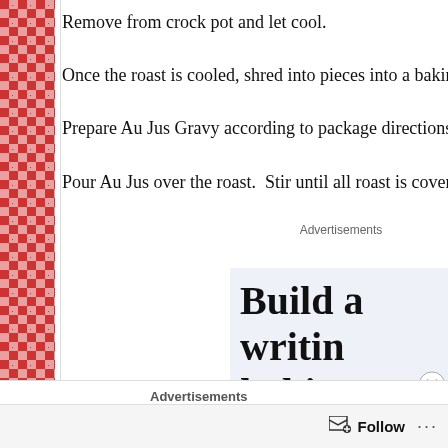Remove from crock pot and let cool.
Once the roast is cooled, shred into pieces into a baking dis
Prepare Au Jus Gravy according to package directions using
Pour Au Jus over the roast.  Stir until all roast is covered.
[Figure (other): Advertisement banner showing 'Build a writing habit. Post on the go.' on a light blue background with a close button]
Advertisements
The Platform Where
Follow